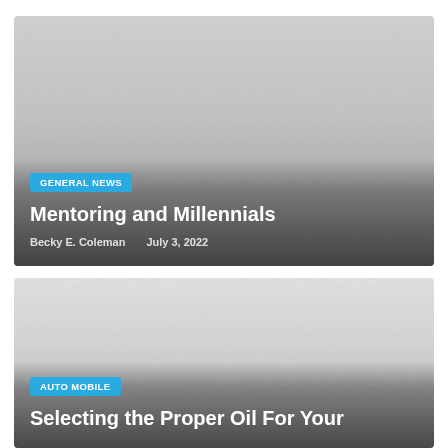[Figure (photo): Article card with foggy/misty grayscale background image for 'Mentoring and Millennials']
GENERAL NEWS
Mentoring and Millennials
Becky E. Coleman    July 3, 2022
[Figure (photo): Article card with foggy/misty grayscale background image for 'Selecting the Proper Oil For Your...']
AUTO MOBILE
Selecting the Proper Oil For Your